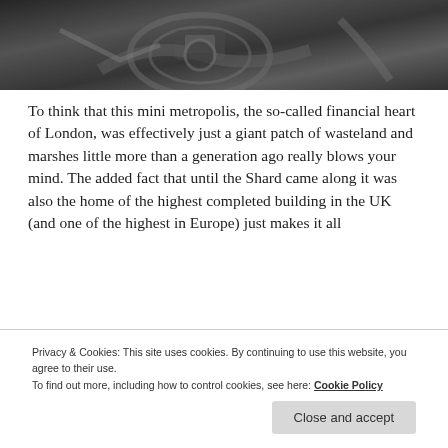[Figure (photo): Black and white close-up photograph of old industrial or mechanical machinery parts including metal components and tubing]
To think that this mini metropolis, the so-called financial heart of London, was effectively just a giant patch of wasteland and marshes little more than a generation ago really blows your mind. The added fact that until the Shard came along it was also the home of the highest completed building in the UK (and one of the highest in Europe) just makes it all
Privacy & Cookies: This site uses cookies. By continuing to use this website, you agree to their use.
To find out more, including how to control cookies, see here: Cookie Policy
Close and accept